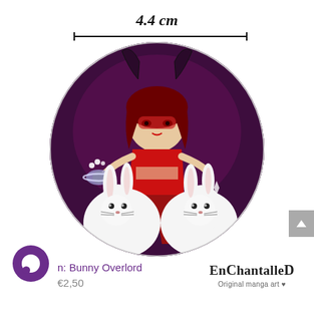4.4 cm
[Figure (photo): A round button/badge (4.4 cm diameter) featuring manga-style artwork of a dark fantasy girl character in red outfit with demon horns and two white cute bunnies in front, on a dark purple background. EnChantalled logo shown below the badge.]
EnChantalled — Original manga art
n: Bunny Overlord
€2,50